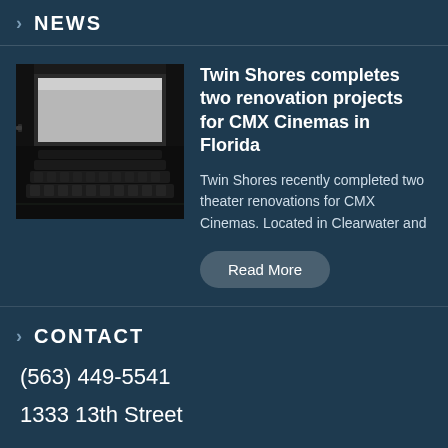NEWS
[Figure (photo): Interior of a movie theater showing rows of seats and a large screen, dark ambiance.]
Twin Shores completes two renovation projects for CMX Cinemas in Florida
Twin Shores recently completed two theater renovations for CMX Cinemas. Located in Clearwater and
Read More
CONTACT
(563) 449-5541
1333 13th Street